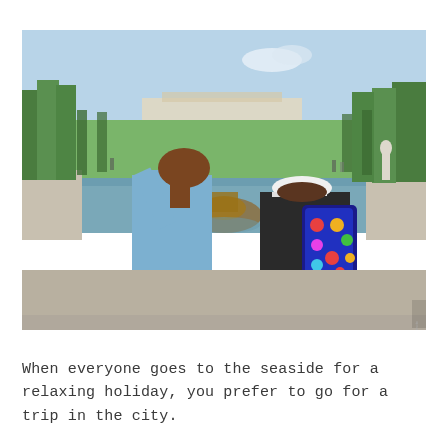[Figure (photo): Two people viewed from behind looking at the gardens and fountains of Versailles palace. One person wears a blue denim jacket with brown hair, the other wears a black t-shirt with a white cap and a colorful backpack. Green trees line the grand canal leading to the palace in the distance on a sunny day.]
When everyone goes to the seaside for a relaxing holiday, you prefer to go for a trip in the city.